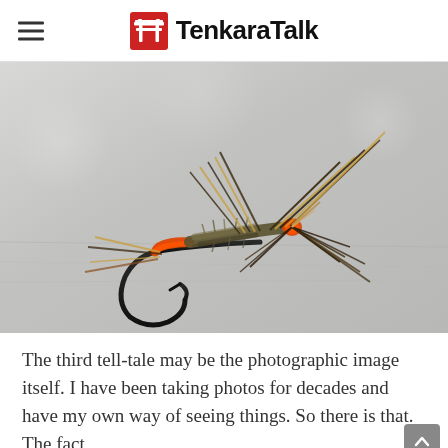TenkaraTalk
[Figure (photo): Close-up macro photograph of a tenkara fishing fly with orange thread wrapping, fuzzy olive body, and spiky hackle feathers, resting on a light gray stone surface.]
The third tell-tale may be the photographic image itself. I have been taking photos for decades and have my own way of seeing things. So there is that. The fact